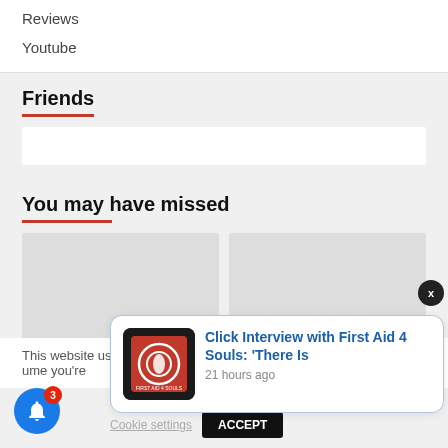Reviews
Youtube
Friends
You may have missed
[Figure (other): Two grey placeholder image cards side by side]
This website us… ume you're…
Cookie settings   ACCEPT
[Figure (logo): First Aid 4 Souls logo — red square with white circular design on black background]
Click Interview with First Aid 4 Souls: 'There Is
21 hours ago